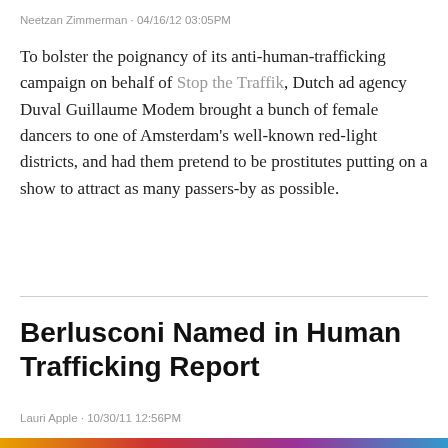Neetzan Zimmerman · 04/16/12 03:05PM
To bolster the poignancy of its anti-human-trafficking campaign on behalf of Stop the Traffik, Dutch ad agency Duval Guillaume Modem brought a bunch of female dancers to one of Amsterdam's well-known red-light districts, and had them pretend to be prostitutes putting on a show to attract as many passers-by as possible.
Berlusconi Named in Human Trafficking Report
Lauri Apple · 10/30/11 12:56PM